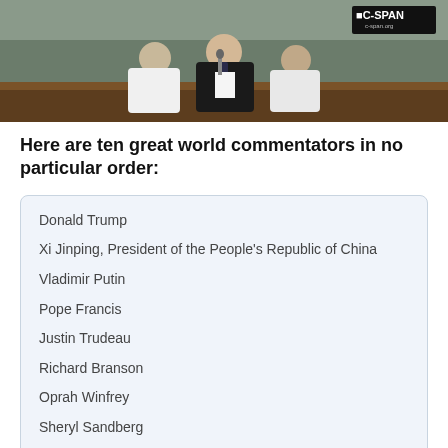[Figure (photo): Photo of people at a podium or speaking desk, C-SPAN watermark visible in top right corner]
Here are ten great world commentators in no particular order:
Donald Trump
Xi Jinping, President of the People's Republic of China
Vladimir Putin
Pope Francis
Justin Trudeau
Richard Branson
Oprah Winfrey
Sheryl Sandberg
Pink
Fred Matiang'l (Kenya)
About Ronn Torossian